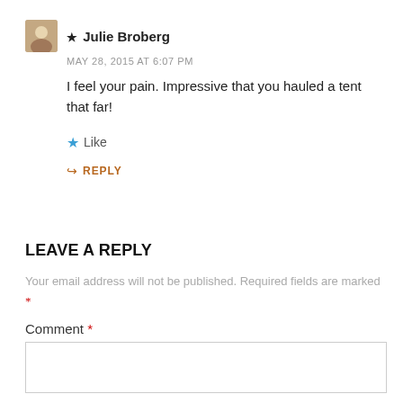★ Julie Broberg
MAY 28, 2015 AT 6:07 PM
I feel your pain. Impressive that you hauled a tent that far!
★ Like
↪ REPLY
LEAVE A REPLY
Your email address will not be published. Required fields are marked *
Comment *